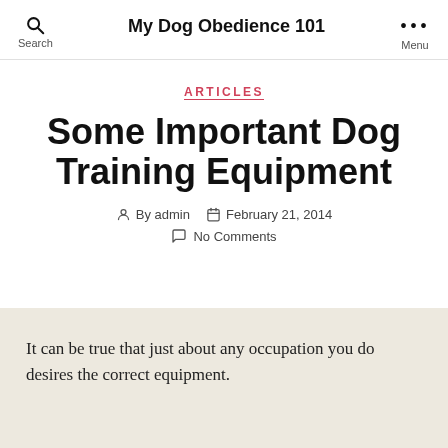My Dog Obedience 101
ARTICLES
Some Important Dog Training Equipment
By admin  February 21, 2014  No Comments
It can be true that just about any occupation you do desires the correct equipment.